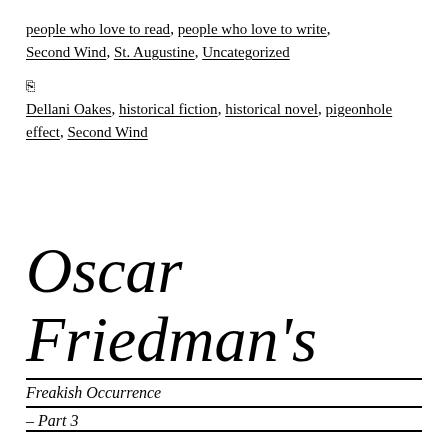people who love to read, people who love to write, Second Wind, St. Augustine, Uncategorized
Tags: Dellani Oakes, historical fiction, historical novel, pigeonhole effect, Second Wind
Oscar Friedman's Freakish Occurrence – Part 3